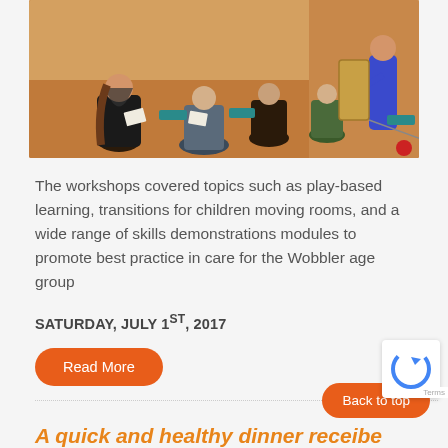[Figure (photo): Workshop scene with adults seated in a circle on chairs, reviewing papers, and a presenter standing at the right side of the room near a wooden frame/display.]
The workshops covered topics such as play-based learning, transitions for children moving rooms, and a wide range of skills demonstrations modules to promote best practice in care for the Wobbler age group
SATURDAY, JULY 1ST, 2017
Read More
A quick and healthy dinner receipe